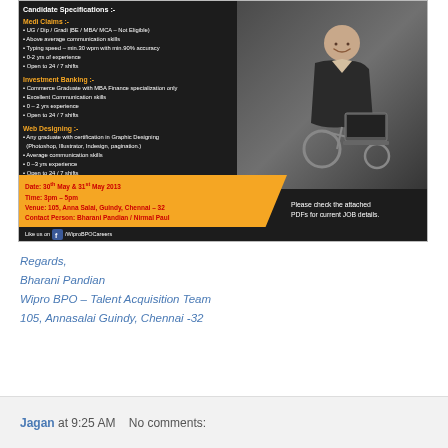[Figure (infographic): Wipro BPO job advertisement with candidate specifications for Medi Claims, Investment Banking, and Web Designing roles. Includes photo of a woman in a wheelchair with a laptop. Bottom section shows date, time, venue, and contact details on an orange/black background.]
Regards,
Bharani Pandian
Wipro BPO – Talent Acquisition Team
105, Annasalai Guindy, Chennai -32
Jagan at 9:25 AM    No comments: